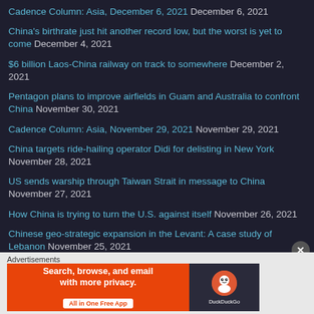Cadence Column: Asia, December 6, 2021 December 6, 2021
China's birthrate just hit another record low, but the worst is yet to come December 4, 2021
$6 billion Laos-China railway on track to somewhere December 2, 2021
Pentagon plans to improve airfields in Guam and Australia to confront China November 30, 2021
Cadence Column: Asia, November 29, 2021 November 29, 2021
China targets ride-hailing operator Didi for delisting in New York November 28, 2021
US sends warship through Taiwan Strait in message to China November 27, 2021
How China is trying to turn the U.S. against itself November 26, 2021
Chinese geo-strategic expansion in the Levant: A case study of Lebanon November 25, 2021
Advertisements
[Figure (screenshot): DuckDuckGo advertisement banner: orange section with text 'Search, browse, and email with more privacy. All in One Free App' and dark section with DuckDuckGo logo]